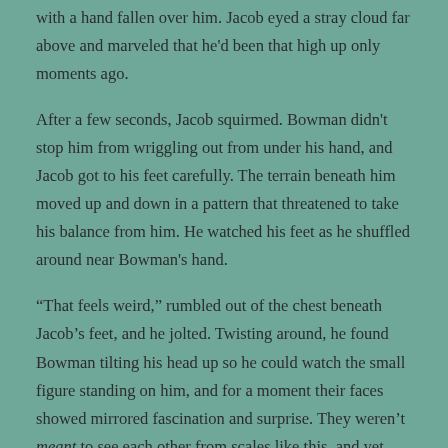with a hand fallen over him. Jacob eyed a stray cloud far above and marveled that he'd been that high up only moments ago.
After a few seconds, Jacob squirmed. Bowman didn't stop him from wriggling out from under his hand, and Jacob got to his feet carefully. The terrain beneath him moved up and down in a pattern that threatened to take his balance from him. He watched his feet as he shuffled around near Bowman's hand.
“That feels weird,” rumbled out of the chest beneath Jacob’s feet, and he jolted. Twisting around, he found Bowman tilting his head up so he could watch the small figure standing on him, and for a moment their faces showed mirrored fascination and surprise. They weren’t meant to see each other from scales like this, and yet there they were.
“It’s not exactly normal for me, either,” Jacob shot back. He